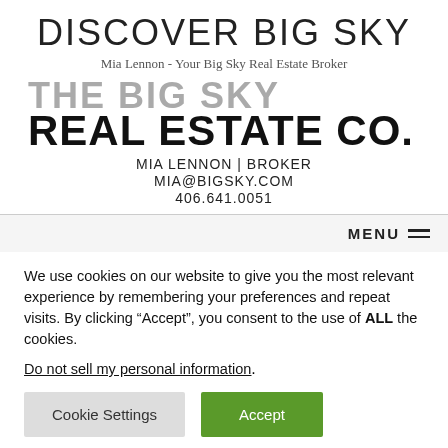DISCOVER BIG SKY
Mia Lennon - Your Big Sky Real Estate Broker
[Figure (logo): The Big Sky Real Estate Co. logo with two lines: 'THE BIG SKY' in gray and 'REAL ESTATE CO.' in bold black]
MIA LENNON | BROKER
MIA@BIGSKY.COM
406.641.0051
MENU
We use cookies on our website to give you the most relevant experience by remembering your preferences and repeat visits. By clicking “Accept”, you consent to the use of ALL the cookies.
Do not sell my personal information.
Cookie Settings
Accept